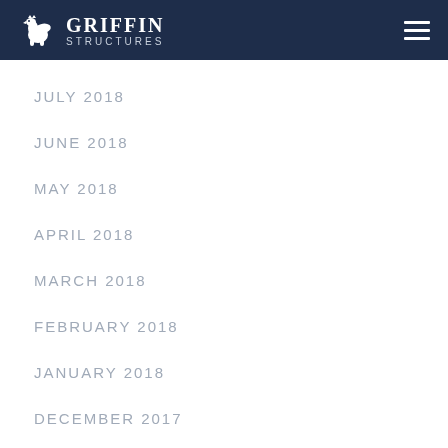GRIFFIN STRUCTURES
JULY 2018
JUNE 2018
MAY 2018
APRIL 2018
MARCH 2018
FEBRUARY 2018
JANUARY 2018
DECEMBER 2017
NOVEMBER 2017